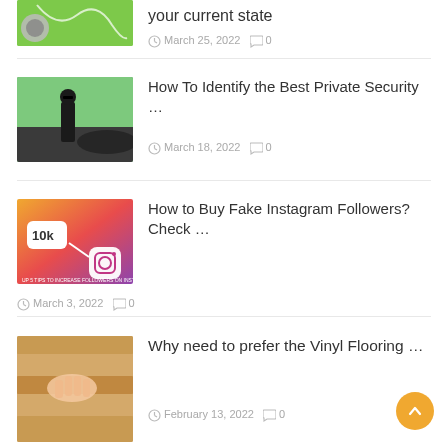[Figure (photo): Headphones on green background, partially visible at top]
your current state
March 25, 2022  0
[Figure (photo): Man in suit and sunglasses standing by a car outdoors]
How To Identify the Best Private Security …
March 18, 2022  0
[Figure (photo): Instagram followers promotional image with 10k badge]
How to Buy Fake Instagram Followers? Check …
March 3, 2022  0
[Figure (photo): Hands touching wooden vinyl flooring planks]
Why need to prefer the Vinyl Flooring …
February 13, 2022  0